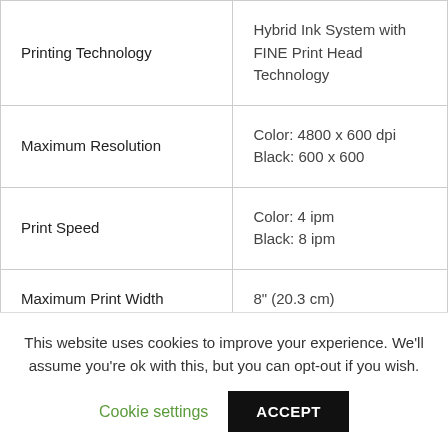| Feature | Value |
| --- | --- |
| Printing Technology | Hybrid Ink System with FINE Print Head Technology |
| Maximum Resolution | Color: 4800 x 600 dpi
Black: 600 x 600 |
| Print Speed | Color: 4 ipm
Black: 8 ipm |
| Maximum Print Width | 8" (20.3 cm) |
| Number of Nozzles | Color: 960 |
This website uses cookies to improve your experience. We'll assume you're ok with this, but you can opt-out if you wish.
Cookie settings | ACCEPT